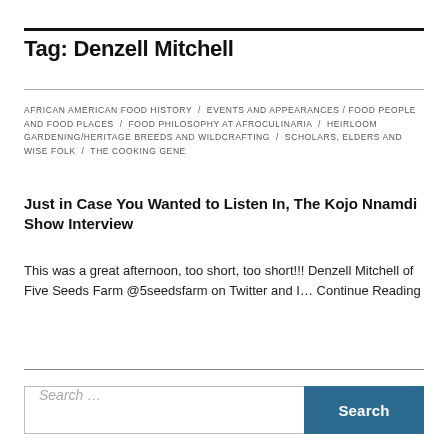Tag: Denzell Mitchell
AFRICAN AMERICAN FOOD HISTORY / EVENTS AND APPEARANCES / FOOD PEOPLE AND FOOD PLACES / FOOD PHILOSOPHY AT AFROCULINARIA / HEIRLOOM GARDENING/HERITAGE BREEDS AND WILDCRAFTING / SCHOLARS, ELDERS AND WISE FOLK / THE COOKING GENE
Just in Case You Wanted to Listen In, The Kojo Nnamdi Show Interview
This was a great afternoon, too short, too short!!! Denzell Mitchell of Five Seeds Farm @5seedsfarm on Twitter and I… Continue Reading